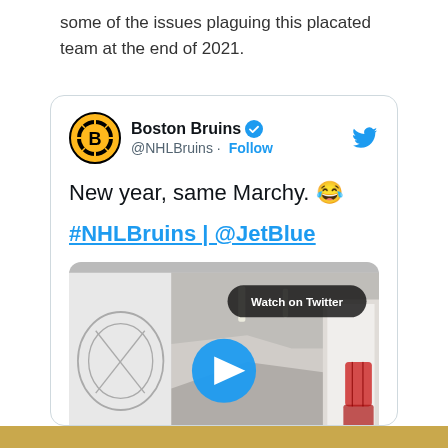some of the issues plaguing this placated team at the end of 2021.
[Figure (screenshot): Embedded tweet from Boston Bruins (@NHLBruins) with verified badge and Follow button. Tweet text: 'New year, same Marchy. 😂' and '#NHLBruins | @JetBlue'. Below the tweet text is a video thumbnail showing a hallway with a 'Watch on Twitter' badge and a blue play button.]